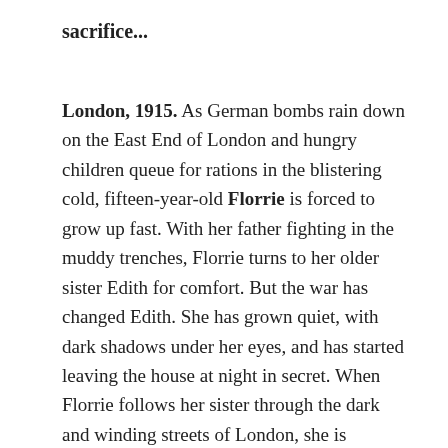sacrifice...
London, 1915. As German bombs rain down on the East End of London and hungry children queue for rations in the blistering cold, fifteen-year-old Florrie is forced to grow up fast. With her father fighting in the muddy trenches, Florrie turns to her older sister Edith for comfort. But the war has changed Edith. She has grown quiet, with dark shadows under her eyes, and has started leaving the house at night in secret. When Florrie follows her sister through the dark and winding streets of London, she is shocked by what she discovers. But she knows she must keep her sister's secret for the sake of their family, even if she herself must pay the ultimate price...